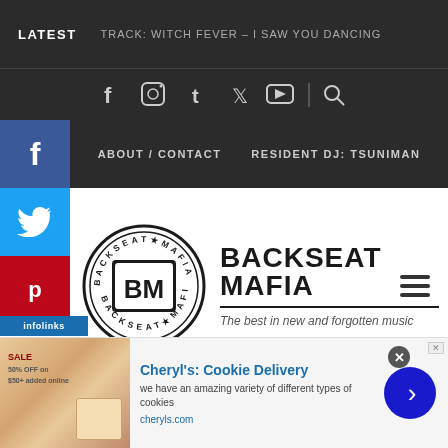LATEST   TRACK: WITCH FEVER – I SAW YOU DANCING
[Figure (screenshot): Social media icon bar with Facebook, Instagram, Tumblr, Twitter, YouTube icons and search icon on dark background]
[Figure (screenshot): Facebook share sidebar button (blue)]
ABOUT / CONTACT   RESIDENT DJ: TSUNIMAN
[Figure (screenshot): Twitter share sidebar button (blue)]
[Figure (screenshot): Pinterest share sidebar button (red)]
[Figure (logo): Backseat Mafia circular logo with BM monogram]
BACKSEAT MAFIA
The best in new and forgotten music
[Figure (screenshot): LinkedIn share sidebar button]
[Figure (screenshot): Tumblr share sidebar button]
MODERN STUDIES – 'AILING LIGHT': SCOTTISH CHAMBER FOLK RELEASE NEW EP
FILM REVIEW: POSSUM   ROB ALDAM
PREM LISTE SCIN RETR
[Figure (screenshot): Infolinks advertisement label bar]
[Figure (screenshot): Cheryl's Cookie Delivery advertisement banner]
Cheryl's: Cookie Delivery
we have an amazing variety of different types of cookies
cheryls.com